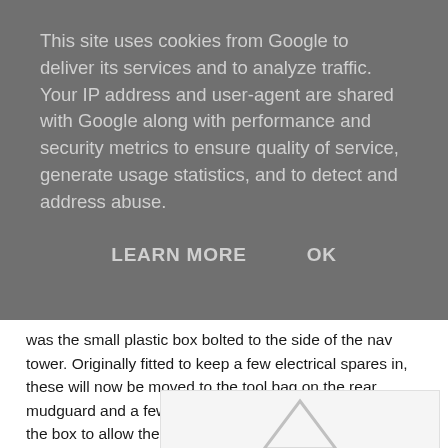This site uses cookies from Google to deliver its services and to analyze traffic. Your IP address and user-agent are shared with Google along with performance and security metrics to ensure quality of service, generate usage statistics, and to detect and address abuse.
LEARN MORE    OK
was the small plastic box bolted to the side of the nav tower. Originally fitted to keep a few electrical spares in, these will now be moved to the tool bag on the rear mudguard and a few holes were drilled into the sides of the box to allow the cables to be passed inside. All the connections and spare cable have now been neatly coiled inside.
[Figure (photo): Partial image with a white/light grey background showing the top of what appears to be a triangular shape or arrow symbol at the bottom of the image area.]